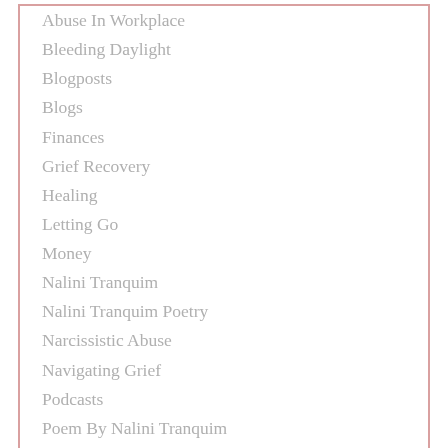Abuse In Workplace
Bleeding Daylight
Blogposts
Blogs
Finances
Grief Recovery
Healing
Letting Go
Money
Nalini Tranquim
Nalini Tranquim Poetry
Narcissistic Abuse
Navigating Grief
Podcasts
Poem By Nalini Tranquim
Poetry
Restoration
Restore (Sl...)